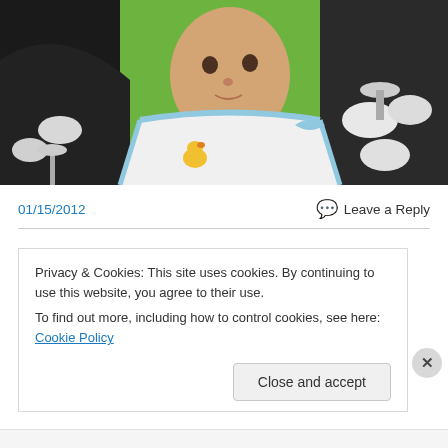[Figure (photo): A baby wearing a white bib with blue trim and a small duck emblem, being held by an adult in a dark shirt, in what appears to be a modern restaurant or cafe with white chairs and green walls in the background.]
01/15/2012
Leave a Reply
Privacy & Cookies: This site uses cookies. By continuing to use this website, you agree to their use.
To find out more, including how to control cookies, see here: Cookie Policy
Close and accept